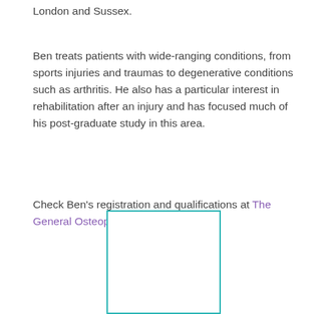London and Sussex.
Ben treats patients with wide-ranging conditions, from sports injuries and traumas to degenerative conditions such as arthritis. He also has a particular interest in rehabilitation after an injury and has focused much of his post-graduate study in this area.
Check Ben's registration and qualifications at The General Osteopathic Council
[Figure (photo): A rectangular box with a teal/cyan border, likely a placeholder for a photo of Ben.]